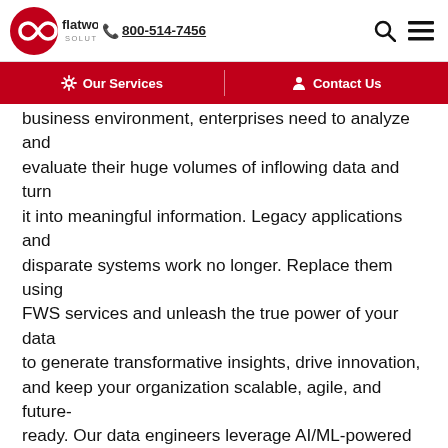[Figure (logo): Flatworld Solutions logo with infinity symbol in red, company name, phone number 800-514-7456, search icon, and hamburger menu icon]
Our Services | Contact Us
business environment, enterprises need to analyze and evaluate their huge volumes of inflowing data and turn it into meaningful information. Legacy applications and disparate systems work no longer. Replace them using FWS services and unleash the true power of your data to generate transformative insights, drive innovation, and keep your organization scalable, agile, and future-ready. Our data engineers leverage AI/ML-powered solutions to move your data from legacy databases to modern, cloud-based platforms to help you gain real-time, predictive insights that ensure intelligent, data-driven decisions for maximum business growth and profitability.
So, come let us know your modernization requirements and we will help you do better than the competition by